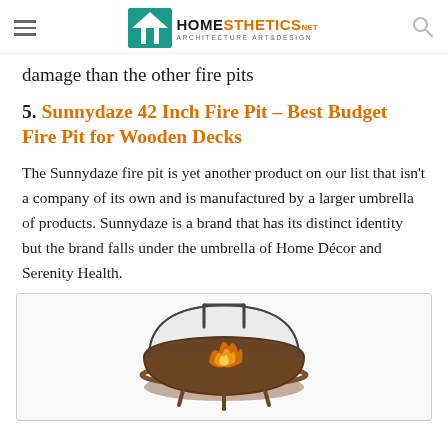Homesthetics – Architecture Art & Design
damage than the other fire pits
5. Sunnydaze 42 Inch Fire Pit – Best Budget Fire Pit for Wooden Decks
The Sunnydaze fire pit is yet another product on our list that isn't a company of its own and is manufactured by a larger umbrella of products. Sunnydaze is a brand that has its distinct identity but the brand falls under the umbrella of Home Décor and Serenity Health.
[Figure (photo): Photo of a Sunnydaze 42 Inch Fire Pit showing a round fire pit with mesh dome lid and flames visible inside, photographed against a white background.]